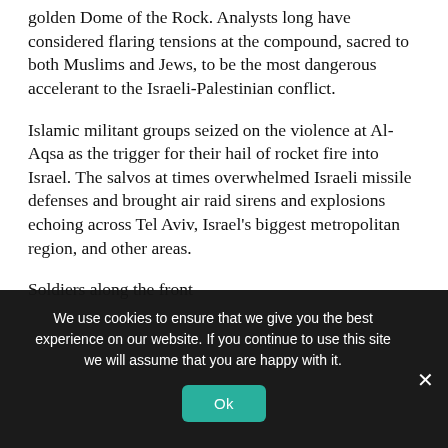golden Dome of the Rock. Analysts long have considered flaring tensions at the compound, sacred to both Muslims and Jews, to be the most dangerous accelerant to the Israeli-Palestinian conflict.
Islamic militant groups seized on the violence at Al-Aqsa as the trigger for their hail of rocket fire into Israel. The salvos at times overwhelmed Israeli missile defenses and brought air raid sirens and explosions echoing across Tel Aviv, Israel's biggest metropolitan region, and other areas.
Soldiers along the front edge of the field that...
We use cookies to ensure that we give you the best experience on our website. If you continue to use this site we will assume that you are happy with it.